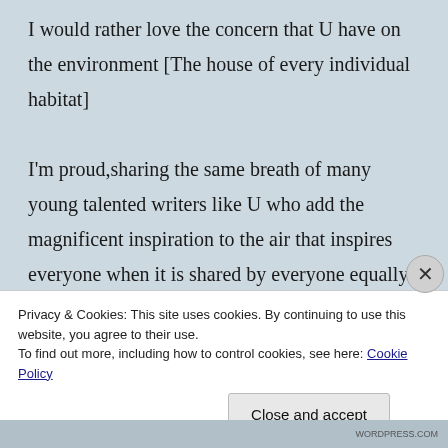I would rather love the concern that U have on the environment [The house of every individual habitat]
I'm proud,sharing the same breath of many young talented writers like U who add the magnificent inspiration to the air that inspires everyone when it is shared by everyone equally well
E...
Privacy & Cookies: This site uses cookies. By continuing to use this website, you agree to their use.
To find out more, including how to control cookies, see here: Cookie Policy
Close and accept
WORDPRESS.COM